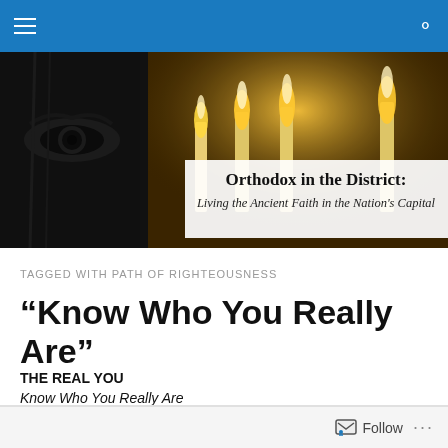Navigation bar with menu icon and search icon
[Figure (photo): Website header banner: left half shows a black and white close-up of an eye with dark fabric; right half shows lit candles in warm golden light. White overlay text reads 'Orthodox in the District:' in bold serif and 'Living the Ancient Faith in the Nation's Capital' in italic serif.]
TAGGED WITH PATH OF RIGHTEOUSNESS
“Know Who You Really Are”
THE REAL YOU
Know Who You Really Are
Follow ...